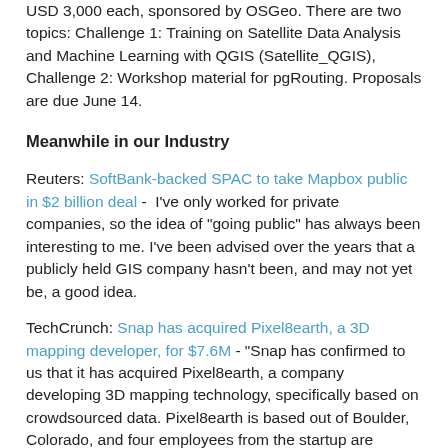USD 3,000 each, sponsored by OSGeo. There are two topics: Challenge 1: Training on Satellite Data Analysis and Machine Learning with QGIS (Satellite_QGIS), Challenge 2: Workshop material for pgRouting. Proposals are due June 14.
Meanwhile in our Industry
Reuters: SoftBank-backed SPAC to take Mapbox public in $2 billion deal -  I've only worked for private companies, so the idea of "going public" has always been interesting to me. I've been advised over the years that a publicly held GIS company hasn't been, and may not yet be, a good idea.
TechCrunch: Snap has acquired Pixel8earth, a 3D mapping developer, for $7.6M - "Snap has confirmed to us that it has acquired Pixel8earth, a company developing 3D mapping technology, specifically based on crowdsourced data. Pixel8earth is based out of Boulder, Colorado, and four employees from the startup are joining Snap to work on map product development. Specifically, they will be building out tools that will work with Snap's location-based augmented reality experiences..."